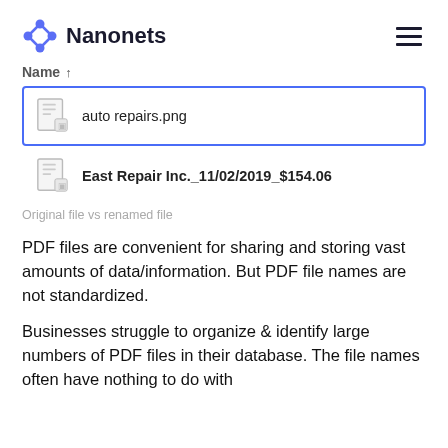Nanonets
[Figure (screenshot): File browser listing showing two file entries: 'auto repairs.png' (selected with blue border) and 'East Repair Inc._11/02/2019_$154.06']
Original file vs renamed file
PDF files are convenient for sharing and storing vast amounts of data/information. But PDF file names are not standardized.
Businesses struggle to organize & identify large numbers of PDF files in their database. The file names often have nothing to do with